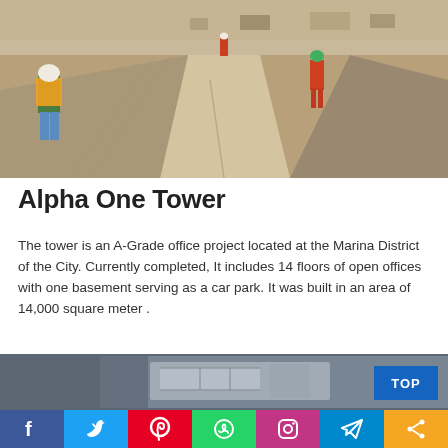[Figure (photo): Construction site with workers in safety vests and helmets grading a road, heavy machinery visible in the background, sandy/desert environment]
Alpha One Tower
The tower is an A-Grade office project located at the Marina District of the City. Currently completed, It includes 14 floors of open offices with one basement serving as a car park. It was built in an area of 14,000 square meter .
[Figure (photo): Aerial view of construction site, blurred background, showing foundation or early structure of the tower]
f  Twitter  Pinterest  WhatsApp  Instagram  Telegram  Share